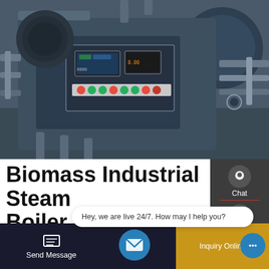[Figure (photo): Industrial biomass steam boiler machine with blue/grey body, control panel with display screen and colored buttons, pipes and mechanical components]
Biomass Industrial Steam Boiler 1 Ton For Rice Milling Machine
We supply high-quality and best service for biomass industrial steam boiler 1 ton for rice milling machine.biomass industrial steam boiler 1 ton for rice milling machine are widely used in Heating, chemical, tobacco, textile, print and dyeing, feed, medicine, building
Send Message | Hey, we are live 24/7. How may I help you? | Inquiry Online